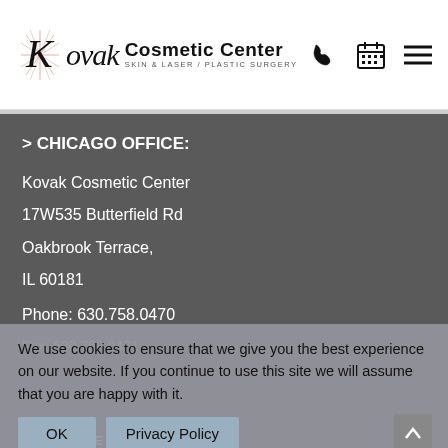[Figure (logo): Kovak Cosmetic Center logo with star burst, italic Kovak text, and subtitle SKIN & LASER / PLASTIC SURGERY, plus phone, calendar, and hamburger menu icons]
> CHICAGO OFFICE:
Kovak Cosmetic Center
17W535 Butterfield Rd
Oakbrook Terrace,
IL 60181
Phone: 630.758.0470
Fax: 630.758.0471
We use cookies to ensure that we give you the best experience on our website. If you continue to use this site we will assume that you are happy with it.
SUBSCRIBE TODAY!